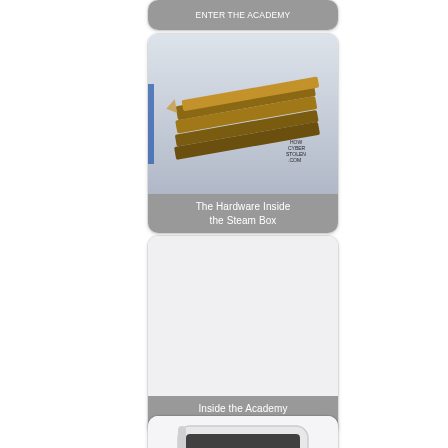[Figure (screenshot): Partial card at top showing a grey label bar with illegible text, partially cropped]
[Figure (photo): Card with photo of pencils/colored pencils on a surface, with a grey label overlay reading 'The Hardware Inside the Steam Box']
[Figure (photo): Card with a blank/white image area and a grey label overlay reading 'Inside the Academy Museum']
[Figure (photo): Card showing a smartphone device at an angle, partially cropped at bottom]